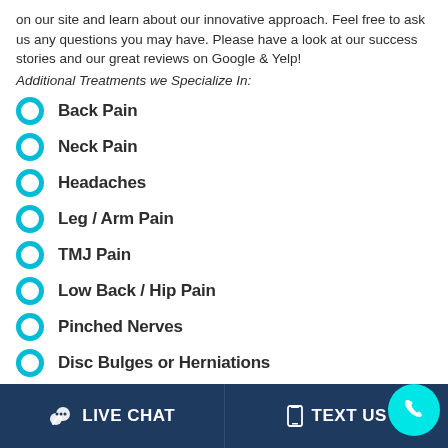on our site and learn about our innovative approach. Feel free to ask us any questions you may have. Please have a look at our success stories and our great reviews on Google & Yelp!
Additional Treatments we Specialize In:
Back Pain
Neck Pain
Headaches
Leg / Arm Pain
TMJ Pain
Low Back / Hip Pain
Pinched Nerves
Disc Bulges or Herniations
Sciatica
LIVE CHAT   TEXT US